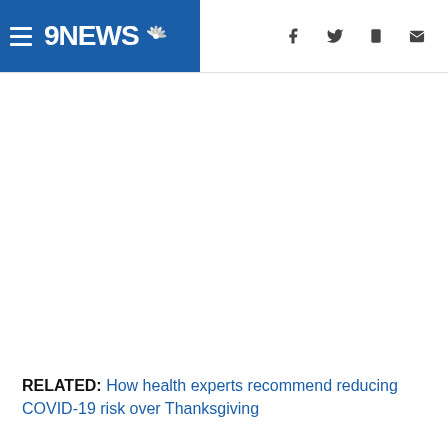9NEWS
RELATED: How health experts recommend reducing COVID-19 risk over Thanksgiving